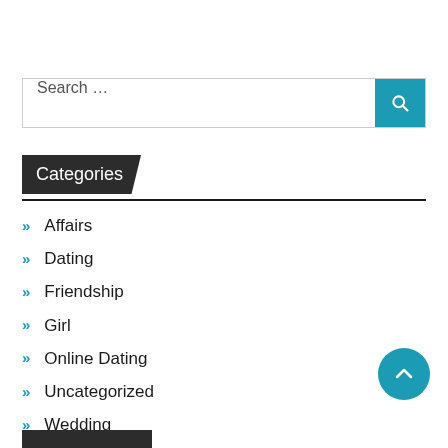Search …
Categories
Affairs
Dating
Friendship
Girl
Online Dating
Uncategorized
Wedding